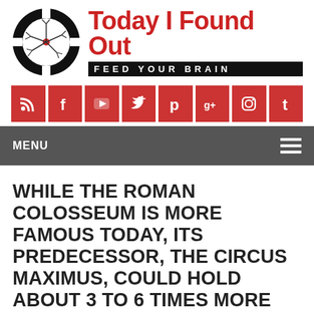[Figure (logo): Today I Found Out website logo: black circular crosshair with neuron illustration in center, beside bold red 'Today I Found Out' title and black banner 'FEED YOUR BRAIN']
[Figure (infographic): Row of 8 red social media icon buttons: RSS, Facebook, YouTube, Twitter, Pinterest, Google+, Instagram, Tumblr]
MENU
WHILE THE ROMAN COLOSSEUM IS MORE FAMOUS TODAY, ITS PREDECESSOR, THE CIRCUS MAXIMUS, COULD HOLD ABOUT 3 TO 6 TIMES MORE PEOPLE